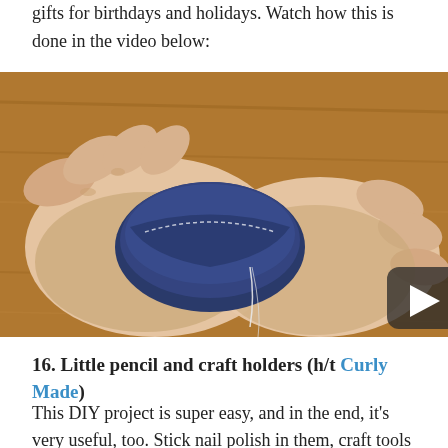gifts for birthdays and holidays. Watch how this is done in the video below:
[Figure (photo): Hands holding a small denim fabric item being sewn with clear thread, wooden table background, with a video play button overlay in the center.]
16. Little pencil and craft holders (h/t Curly Made)
This DIY project is super easy, and in the end, it's very useful, too. Stick nail polish in them, craft tools or the